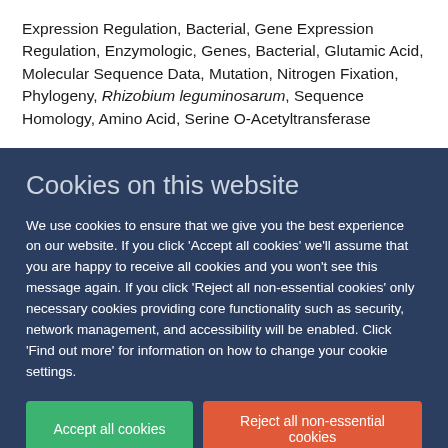Expression Regulation, Bacterial, Gene Expression Regulation, Enzymologic, Genes, Bacterial, Glutamic Acid, Molecular Sequence Data, Mutation, Nitrogen Fixation, Phylogeny, Rhizobium leguminosarum, Sequence Homology, Amino Acid, Serine O-Acetyltransferase
Cookies on this website
We use cookies to ensure that we give you the best experience on our website. If you click 'Accept all cookies' we'll assume that you are happy to receive all cookies and you won't see this message again. If you click 'Reject all non-essential cookies' only necessary cookies providing core functionality such as security, network management, and accessibility will be enabled. Click 'Find out more' for information on how to change your cookie settings.